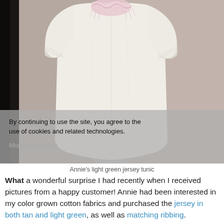[Figure (photo): Photo of a light cream/white jersey tunic displayed on a dress form/mannequin stand, with a pink fluffy scarf around the neckline. Background is a muted taupe/grey wall. A cookie consent overlay banner appears at the bottom of the image with the text: 'By continuing to use the site, you agree to the use of cookies and related technologies.' and 'More information' link below.]
Annie's light green jersey tunic
What a wonderful surprise I had recently when I received pictures from a happy customer!  Annie had been interested in my color grown cotton fabrics and purchased the jersey in both tan and light green, as well as matching ribbing.